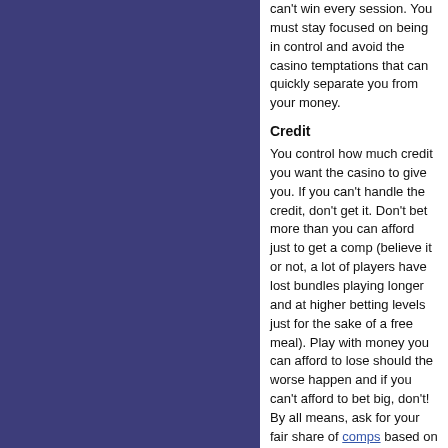can't win every session. You must stay focused on being in control and avoid the casino temptations that can quickly separate you from your money.
Credit
You control how much credit you want the casino to give you. If you can't handle the credit, don't get it. Don't bet more than you can afford just to get a comp (believe it or not, a lot of players have lost bundles playing longer and at higher betting levels just for the sake of a free meal). Play with money you can afford to lose should the worse happen and if you can't afford to bet big, don't! By all means, ask for your fair share of comps based on the betting level you feel comfortable with, but please don't